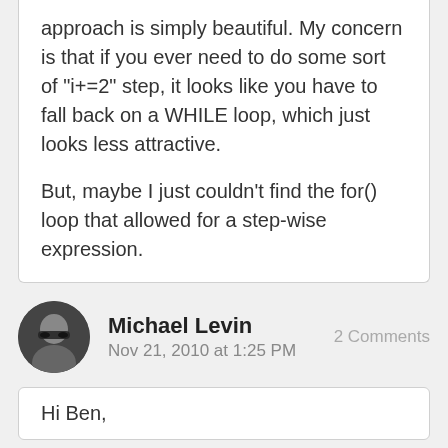I think for single step for loops, the range approach is simply beautiful. My concern is that if you ever need to do some sort of "i+=2" step, it looks like you have to fall back on a WHILE loop, which just looks less attractive.

But, maybe I just couldn't find the for() loop that allowed for a step-wise expression.
Michael Levin
Nov 21, 2010 at 1:25 PM
2 Comments
Hi Ben,